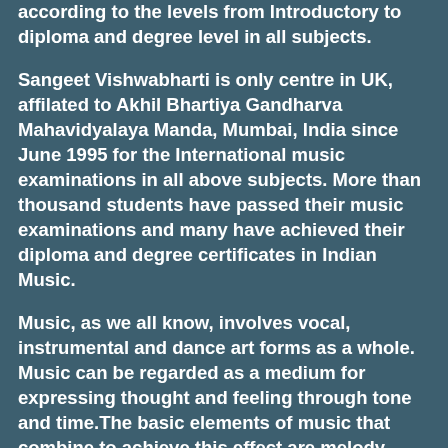according to the levels from Introductory to diploma and degree level in all subjects.
Sangeet Vishwabharti is only centre in UK, affilated to Akhil Bhartiya Gandharva Mahavidyalaya Manda, Mumbai, India since June 1995 for the International music examinations in all above subjects. More than thousand students have passed their music examinations and many have achieved their diploma and degree certificates in Indian Music.
Music, as we all know, involves vocal, instrumental and dance art forms as a whole. Music can be regarded as a medium for expressing thought and feeling through tone and time.The basic elements of music that combine to achieve this effect are melody, rhythm and harmony. Their combination gives rise to musical form.The term Indian music